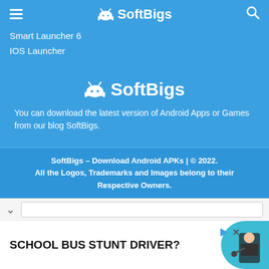≡  🤖 SoftBigs  🔍
Smart Launcher 6
IOS Launcher
[Figure (logo): SoftBigs logo with Android robot icon and site name in white on blue background]
You can download the latest version of Android Apps or Games from our blog SoftBigs.
SoftBigs – Download Android APKs | © 2022. All the Logos, Trademarks and Images belong to their Respective Owners.
[Figure (screenshot): Bottom browser bar with chevron and input, plus ad banner reading SCHOOL BUS STUNT DRIVER? with a person on teal circle background]